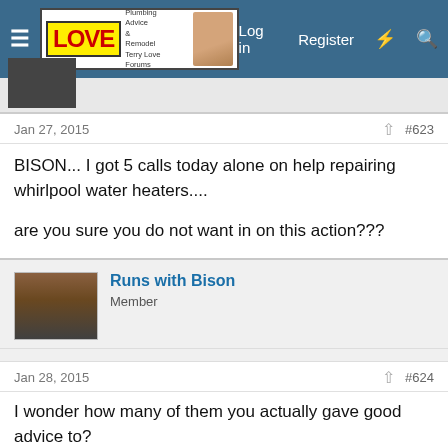Terry Love Plumbing Advice & Remodel DIY Forums — Log in  Register
Jan 27, 2015  #623
BISON... I got 5 calls today alone on help repairing whirlpool water heaters....

are you sure you do not want in on this action???
Runs with Bison
Member
Jan 28, 2015  #624
I wonder how many of them you actually gave good advice to?

You can keep on quoting yourself on the "conspiracy" thing. You are good at strawman arguments, but demonstrably suck at diagnosing control systems. And ultimately that is what this Whirlpool thread is about. Too bad that after all those years, you